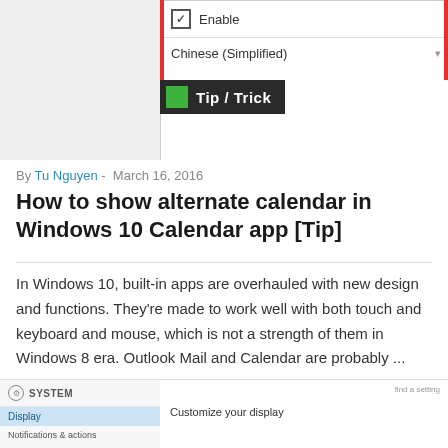[Figure (screenshot): Screenshot of a Windows settings dialog showing a checkbox labeled 'Enable' and a dropdown with 'Chinese (Simplified)' selected, overlaid with a dark 'Tip / Trick' badge with a green icon.]
By Tu Nguyen - March 16, 2016
How to show alternate calendar in Windows 10 Calendar app [Tip]
In Windows 10, built-in apps are overhauled with new design and functions. They're made to work well with both touch and keyboard and mouse, which is not a strength of them in Windows 8 era. Outlook Mail and Calendar are probably ...
Read More
LEAVE COMMENT
[Figure (screenshot): Bottom portion of a Windows 10 System Settings panel showing SYSTEM header, Display item highlighted in blue, Notifications & actions item, and 'Customize your display' text on the right side.]